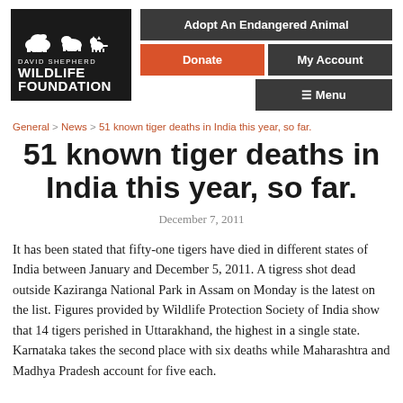[Figure (logo): David Shepherd Wildlife Foundation logo with silhouettes of animals (elephant, rhino, smaller animal) on black background]
Adopt An Endangered Animal | Donate | My Account | Menu
General > News > 51 known tiger deaths in India this year, so far.
51 known tiger deaths in India this year, so far.
December 7, 2011
It has been stated that fifty-one tigers have died in different states of India between January and December 5, 2011. A tigress shot dead outside Kaziranga National Park in Assam on Monday is the latest on the list. Figures provided by Wildlife Protection Society of India show that 14 tigers perished in Uttarakhand, the highest in a single state. Karnataka takes the second place with six deaths while Maharashtra and Madhya Pradesh account for five each.